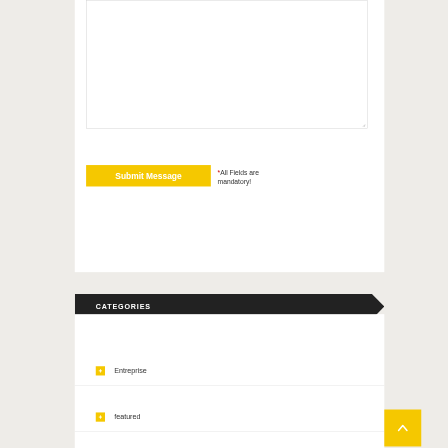[Figure (screenshot): Empty textarea input box with resize handle at bottom-right corner]
Submit Message   *All Fields are mandatory!
CATEGORIES
Entreprise
featured